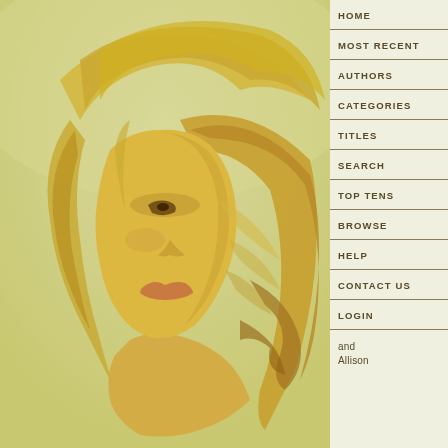[Figure (illustration): A painted digital illustration of a woman with long flowing golden/blonde hair, shown in profile facing left. The background is a pale yellow-green. She has bare shoulders and her face is tilted slightly downward. The style is soft and painterly with warm golden tones.]
HOME
MOST RECENT
AUTHORS
CATEGORIES
TITLES
SEARCH
TOP TENS
BROWSE
HELP
CONTACT US
LOGIN
and
Allison